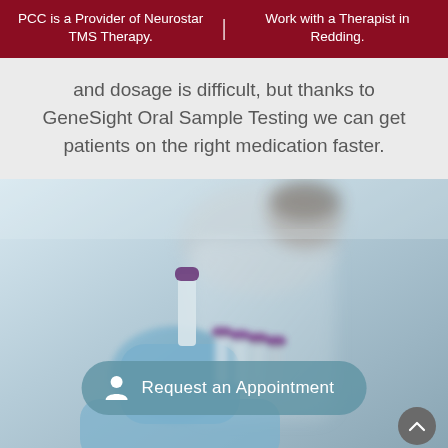PCC is a Provider of Neurostar TMS Therapy. | Work with a Therapist in Redding.
and dosage is difficult, but thanks to GeneSight Oral Sample Testing we can get patients on the right medication faster.
[Figure (photo): A laboratory technician wearing blue gloves holds a blood sample vial with purple cap, with a row of additional purple-capped vials in the background. A blurred figure in a white lab coat is visible behind the technician.]
Request an Appointment